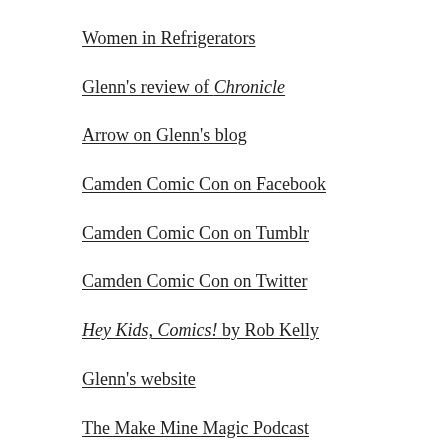Women in Refrigerators
Glenn's review of Chronicle
Arrow on Glenn's blog
Camden Comic Con on Facebook
Camden Comic Con on Tumblr
Camden Comic Con on Twitter
Hey Kids, Comics! by Rob Kelly
Glenn's website
The Make Mine Magic Podcast
French Fry Diary